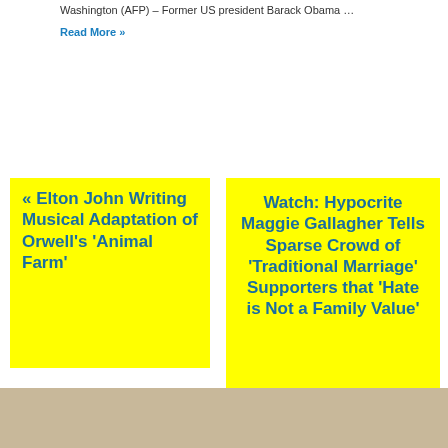Washington (AFP) – Former US president Barack Obama …
Read More »
« Elton John Writing Musical Adaptation of Orwell's 'Animal Farm'
Watch: Hypocrite Maggie Gallagher Tells Sparse Crowd of 'Traditional Marriage' Supporters that 'Hate is Not a Family Value' »